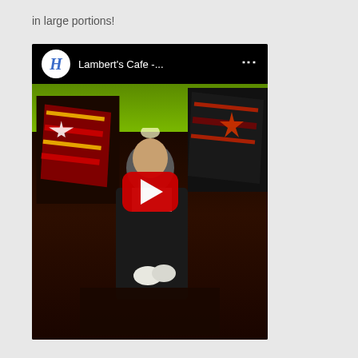in large portions!
[Figure (screenshot): YouTube video thumbnail showing Lambert's Cafe video. A waiter in a black apron holding a cloth stands in a restaurant interior with colorful flags hanging from the ceiling (green-lit). The YouTube player interface is visible with the channel logo (H in blue), the title 'Lambert's Cafe -...', a three-dot menu icon, and a red play button in the center of the video.]